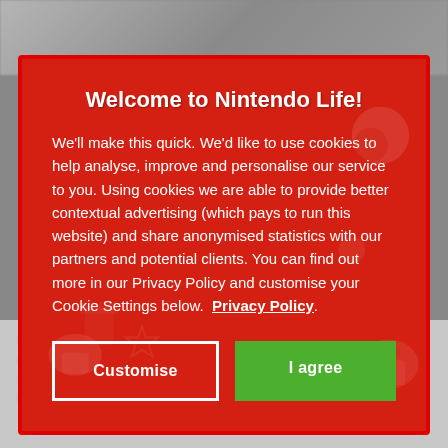Welcome to Nintendo Life!
We'll make this quick. We'd like to use cookies to help analyse, improve and personalise our service to you. Using cookies we are able to provide better contextual advertising (which pays to run this website) and share anonymised statistics with our partners and potential clients. You can find out more in our Privacy Policy and customise your Cookie Settings below. Privacy Policy.
Customise
I agree